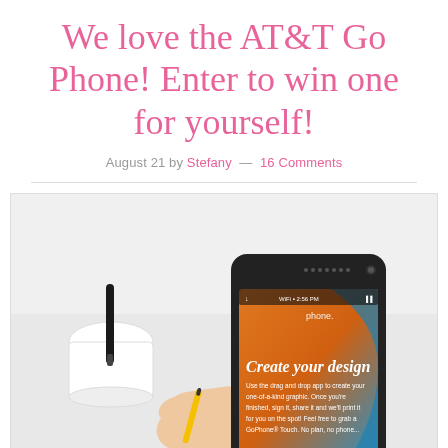We love the AT&T Go Phone! Enter to win one for yourself!
August 21 by Stefany — 16 Comments
[Figure (photo): A hand holding an HTC Android smartphone displaying 'Create your design' screen with drag and drop app interface, next to a white cup with a stylus, on a white background.]